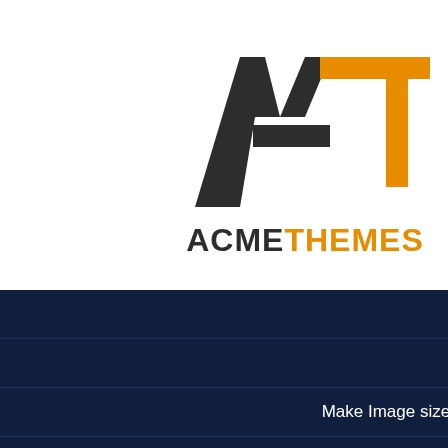[Figure (logo): AcmeThemes logo with stylized A and T letterforms in dark gray and orange, above the text ACMETHEMES]
Theme Installation
Dummy Data
Make Image size suitable for theme
How to make Home Page as demo?
Start Adding-Editing Contents in your site
Using Theme Customization Options
Manage Site Title, Tagline and Site Icon
a Unique Section ID. You can use this ID in Menu item for enabling One Page Menu. (Ex: id-